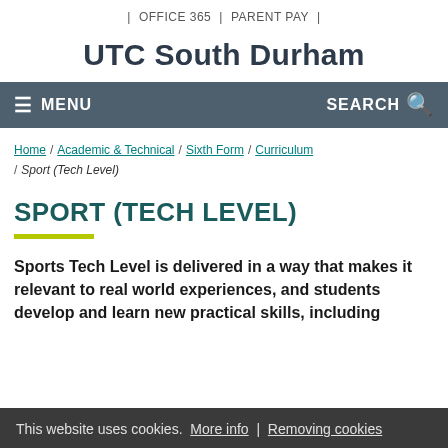| OFFICE 365  |  PARENT PAY  |
UTC South Durham
≡ MENU    SEARCH 🔍
Home / Academic & Technical / Sixth Form / Curriculum / Sport (Tech Level)
SPORT (TECH LEVEL)
Sports Tech Level is delivered in a way that makes it relevant to real world experiences, and students develop and learn new practical skills, including
This website uses cookies. More info | Removing cookies